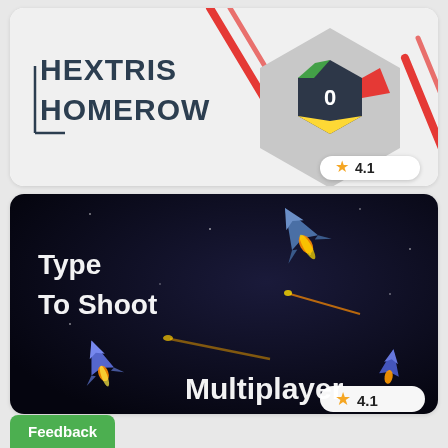[Figure (screenshot): Hextris Homerow game card with hexagonal spinner graphic and rating 4.1]
[Figure (screenshot): Type To Shoot Multiplayer game card with space shooter imagery and rating 4.1]
Feedback